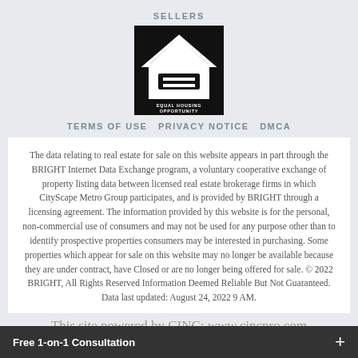SELLERS
[Figure (logo): Equal Housing Opportunity logo — white house icon with equal sign, on black background, with text 'EQUAL HOUSING OPPORTUNITY']
TERMS OF USE  PRIVACY NOTICE  DMCA
The data relating to real estate for sale on this website appears in part through the BRIGHT Internet Data Exchange program, a voluntary cooperative exchange of property listing data between licensed real estate brokerage firms in which CityScape Metro Group participates, and is provided by BRIGHT through a licensing agreement. The information provided by this website is for the personal, non-commercial use of consumers and may not be used for any purpose other than to identify prospective properties consumers may be interested in purchasing. Some properties which appear for sale on this website may no longer be available because they are under contract, have Closed or are no longer being offered for sale. © 2022 BRIGHT, All Rights Reserved Information Deemed Reliable But Not Guaranteed. Data last updated: August 24, 2022 9 AM.
This site powered by CINC: www.cincpro.com
Free 1-on-1 Consultation